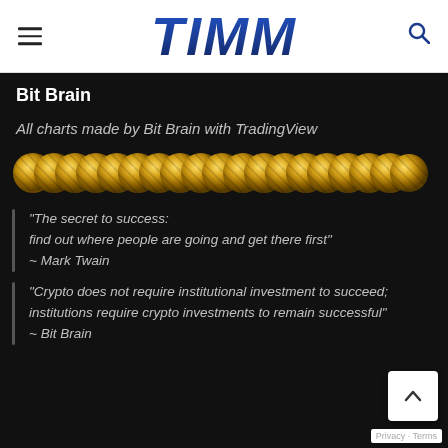TIMM
Bit Brain
All charts made by Bit Brain with TradingView
[Figure (illustration): A row of golden coin/Bitcoin icons arranged in a horizontal line]
“The secret to success: find out where people are going and get there first”
~ Mark Twain
“Crypto does not require institutional investment to succeed; institutions require crypto investments to remain successful”
~ Bit Brain